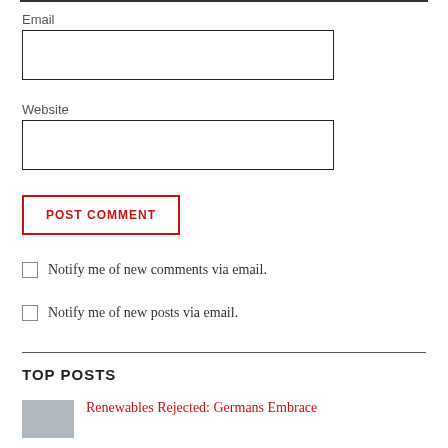Email
Website
POST COMMENT
Notify me of new comments via email.
Notify me of new posts via email.
TOP POSTS
Renewables Rejected: Germans Embrace